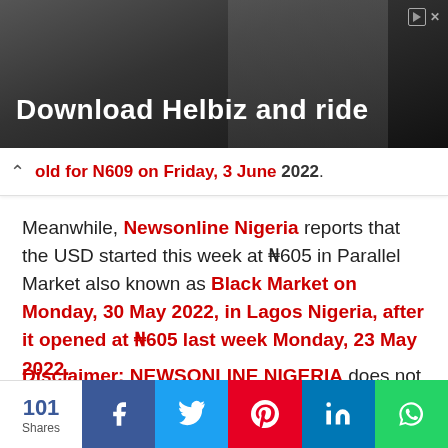[Figure (photo): Advertisement banner with dark background showing a person, text 'Download Helbiz and ride']
old for N609 on Friday, 3 June 2022.
Meanwhile, Newsonline Nigeria reports that the USD started this week at ₦605 in Parallel Market also known as Black Market on Monday, 30 May 2022, in Lagos Nigeria, after it opened at ₦605 last week Monday, 23 May 2022.
Disclaimer: NEWSONLINE NIGERIA does not set or determine forex rates. The official NAFEX rates are obtained from the website of the
101 Shares | Facebook | Twitter | Pinterest | LinkedIn | WhatsApp